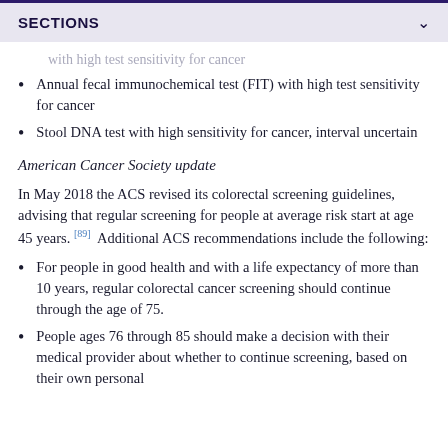SECTIONS
with high test sensitivity for cancer (partial, continued from previous)
Annual fecal immunochemical test (FIT) with high test sensitivity for cancer
Stool DNA test with high sensitivity for cancer, interval uncertain
American Cancer Society update
In May 2018 the ACS revised its colorectal screening guidelines, advising that regular screening for people at average risk start at age 45 years. [89] Additional ACS recommendations include the following:
For people in good health and with a life expectancy of more than 10 years, regular colorectal cancer screening should continue through the age of 75.
People ages 76 through 85 should make a decision with their medical provider about whether to continue screening, based on their own personal